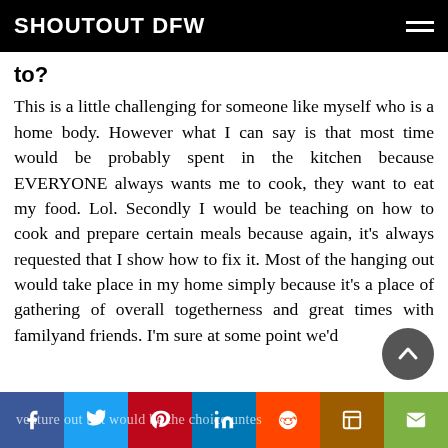SHOUTOUT DFW
to?
This is a little challenging for someone like myself who is a home body. However what I can say is that most time would be probably spent in the kitchen because EVERYONE always wants me to cook, they want to eat my food. Lol. Secondly I would be teaching on how to cook and prepare certain meals because again, it's always requested that I show how to fix it. Most of the hanging out would take place in my home simply because it's a place of gathering of overall togetherness and great times with familyand friends. I'm sure at some point we'd venture out but would be the choice untes